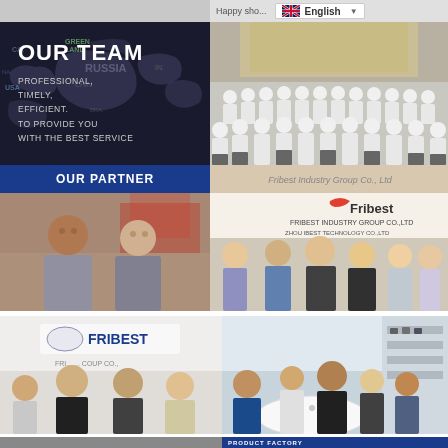Happy shopping | English
[Figure (photo): OUR TEAM banner with world map background and text: PROFESSIONAL, TIMELY, EFFICIENT, TO PROVIDE YOU WITH THE BEST SERVICE]
[Figure (photo): Group photo of team members in white shirts standing in rows in front of a building]
OUR PARTNER
[Figure (photo): Two men posing together at what appears to be a trade show or exhibition]
[Figure (photo): Group photo with Fribest Industry Group Co., Ltd signage in background, showing 5-6 people]
[Figure (photo): Group photo of 4 people in front of Fribest logo banner at company office]
[Figure (photo): Group of people seated around a white table in what appears to be a meeting]
PRODUCT FACTORY